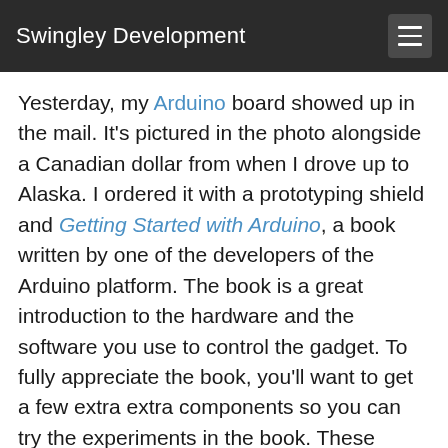Swingley Development
Yesterday, my Arduino board showed up in the mail. It's pictured in the photo alongside a Canadian dollar from when I drove up to Alaska. I ordered it with a prototyping shield and Getting Started with Arduino, a book written by one of the developers of the Arduino platform. The book is a great introduction to the hardware and the software you use to control the gadget. To fully appreciate the book, you'll want to get a few extra extra components so you can try the experiments in the book. These include a breadboard, solid core wire for the breadboard, a button, light sensor, LEDs, and a variety pack of resistors.
What is it? It's a very simple computer connected to fourteen digital input / output pins, six analog input